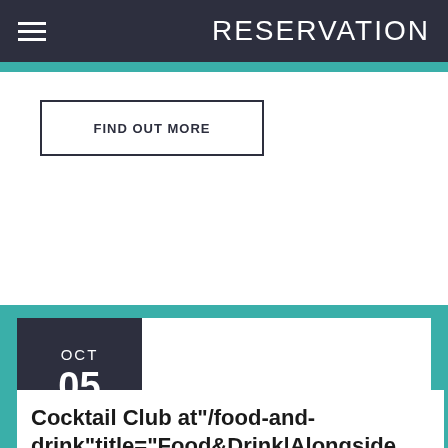RESERVATION
FIND OUT MORE
OCT
05
Cocktail Club at"/food-and-drink"title="Food&Drink|Alongside